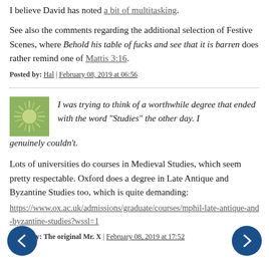I believe David has noted a bit of multitasking.
See also the comments regarding the additional selection of Festive Scenes, where Behold his table of fucks and see that it is barren does rather remind one of Mattis 3:16.
Posted by: Hal | February 08, 2019 at 06:56
I was trying to think of a worthwhile degree that ended with the word "Studies" the other day. I genuinely couldn't.
Lots of universities do courses in Medieval Studies, which seem pretty respectable. Oxford does a degree in Late Antique and Byzantine Studies too, which is quite demanding:
https://www.ox.ac.uk/admissions/graduate/courses/mphil-late-antique-and-byzantine-studies?wssl=1
Posted by: The original Mr. X | February 08, 2019 at 17:52